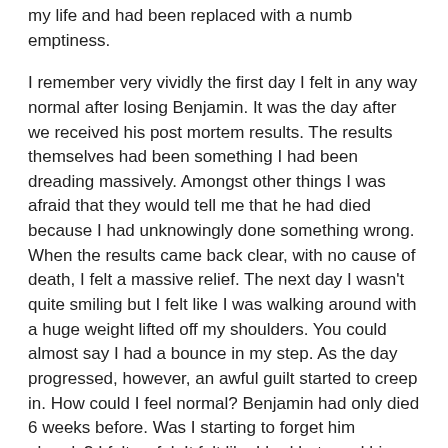my life and had been replaced with a numb emptiness.
I remember very vividly the first day I felt in any way normal after losing Benjamin. It was the day after we received his post mortem results. The results themselves had been something I had been dreading massively. Amongst other things I was afraid that they would tell me that he had died because I had unknowingly done something wrong. When the results came back clear, with no cause of death, I felt a massive relief. The next day I wasn't quite smiling but I felt like I was walking around with a huge weight lifted off my shoulders. You could almost say I had a bounce in my step. As the day progressed, however, an awful guilt started to creep in. How could I feel normal? Benjamin had only died 6 weeks before. Was I starting to forget him already? I felt awful. It felt like I had betrayed him. The darkness soon started to envelope me again and by the time Merv came home from work that evening I was in a bad place. I asked him how his day was in an effort to be normal. To my surprise he revealed that he had actually had quite a good